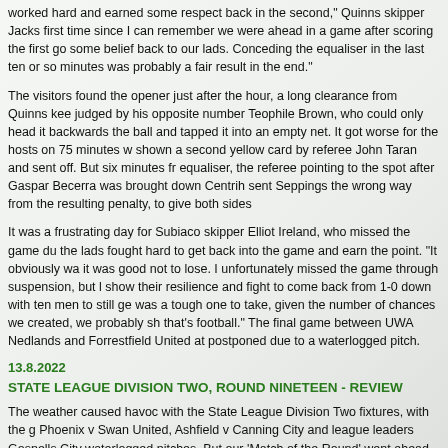worked hard and earned some respect back in the second," Quinns skipper Jacks... first time since I can remember we were ahead in a game after scoring the first go... some belief back to our lads. Conceding the equaliser in the last ten or so minutes... was probably a fair result in the end."
The visitors found the opener just after the hour, a long clearance from Quinns ke... judged by his opposite number Teophile Brown, who could only head it backwards... the ball and tapped it into an empty net. It got worse for the hosts on 75 minutes w... shown a second yellow card by referee John Taran and sent off. But six minutes fr... equaliser, the referee pointing to the spot after Gaspar Becerra was brought down... Centrih sent Seppings the wrong way from the resulting penalty, to give both sides...
It was a frustrating day for Subiaco skipper Elliot Ireland, who missed the game du... the lads fought hard to get back into the game and earn the point. "It obviously wa... it was good not to lose. I unfortunately missed the game through suspension, but l... show their resilience and fight to come back from 1-0 down with ten men to still ge... was a tough one to take, given the number of chances we created, we probably sh... that's football." The final game between UWA Nedlands and Forrestfield United at... postponed due to a waterlogged pitch.
13.8.2022
STATE LEAGUE DIVISION TWO, ROUND NINETEEN - REVIEW
The weather caused havoc with the State League Division Two fixtures, with the g... Phoenix v Swan United, Ashfield v Canning City and league leaders Gosnells City... waterlogged pitches. But our 'Match of the Round' went ahead, with Morley-Windr... continuing, after a 2-1 win against Kingsley Westside at Flinders Park. "Going 1-0... more fired up and the lads off the bench combined for our equaliser," Morley skipp... there I think the game could've gone either way with Kingsley having a goal disallo... the last couple minutes was unreal, it was nice to be on the other end of a last-min... us momentum going into the last four games pushing for play offs."